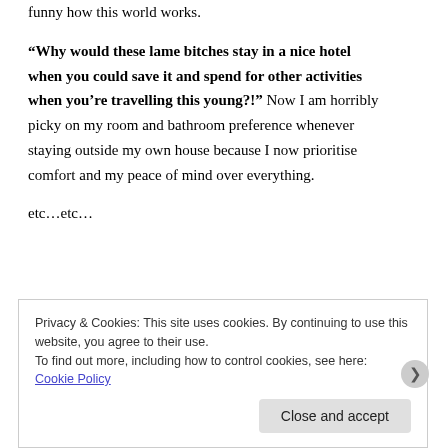funny how this world works.

“Why would these lame bitches stay in a nice hotel when you could save it and spend for other activities when you’re travelling this young?!” Now I am horribly picky on my room and bathroom preference whenever staying outside my own house because I now prioritise comfort and my peace of mind over everything.

etc…etc…
Privacy & Cookies: This site uses cookies. By continuing to use this website, you agree to their use.
To find out more, including how to control cookies, see here: Cookie Policy